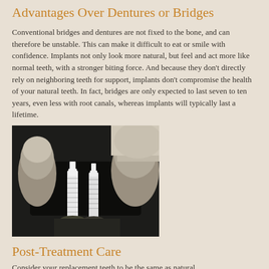Advantages Over Dentures or Bridges
Conventional bridges and dentures are not fixed to the bone, and can therefore be unstable. This can make it difficult to eat or smile with confidence. Implants not only look more natural, but feel and act more like normal teeth, with a stronger biting force. And because they don't directly rely on neighboring teeth for support, implants don't compromise the health of your natural teeth. In fact, bridges are only expected to last seven to ten years, even less with root canals, whereas implants will typically last a lifetime.
[Figure (photo): X-ray image showing two dental implants in the jaw bone, with neighboring teeth visible on both sides]
Post-Treatment Care
Consider your replacement teeth to be the same as natural